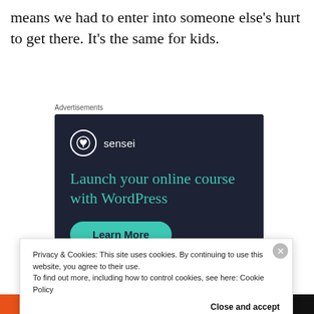means we had to enter into someone else's hurt to get there. It's the same for kids.
Advertisements
[Figure (infographic): Sensei advertisement: dark navy background with Sensei logo (tree icon in circle), headline 'Launch your online course with WordPress' in teal, and a 'Learn More' button in teal.]
Privacy & Cookies: This site uses cookies. By continuing to use this website, you agree to their use.
To find out more, including how to control cookies, see here: Cookie Policy
Close and accept